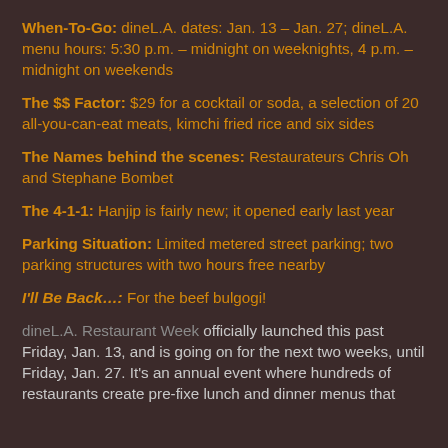When-To-Go: dineL.A. dates: Jan. 13 – Jan. 27; dineL.A. menu hours: 5:30 p.m. – midnight on weeknights, 4 p.m. – midnight on weekends
The $$ Factor: $29 for a cocktail or soda, a selection of 20 all-you-can-eat meats, kimchi fried rice and six sides
The Names behind the scenes: Restaurateurs Chris Oh and Stephane Bombet
The 4-1-1: Hanjip is fairly new; it opened early last year
Parking Situation: Limited metered street parking; two parking structures with two hours free nearby
I'll Be Back…: For the beef bulgogi!
dineL.A. Restaurant Week officially launched this past Friday, Jan. 13, and is going on for the next two weeks, until Friday, Jan. 27. It's an annual event where hundreds of restaurants create pre-fixe lunch and dinner menus that